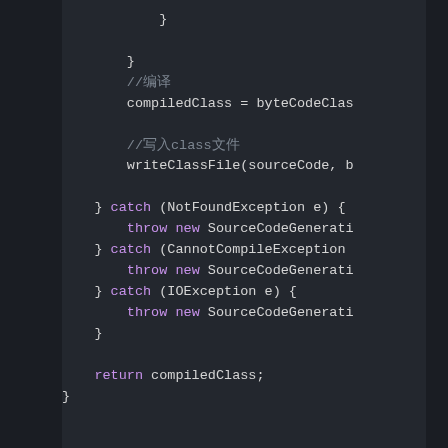Code snippet showing Java try-catch block with compiledClass assignment, writeClassFile call, catch blocks for NotFoundException, CannotCompileException, IOException each throwing SourceCodeGenerationException, and return compiledClass statement.